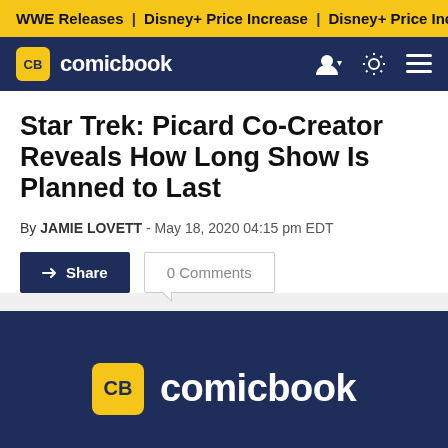WWE Releases | Disney+ Price Increase | Disney+ Price Incre
[Figure (logo): ComicBook.com navigation bar with CB logo badge in yellow and site name in white on dark navy background, with user icon, brightness icon, and menu icon on the right]
Star Trek: Picard Co-Creator Reveals How Long Show Is Planned to Last
By JAMIE LOVETT - May 18, 2020 04:15 pm EDT
Share  0 Comments
[Figure (logo): ComicBook.com logo on dark navy blue background — yellow CB badge and white comicbook text]